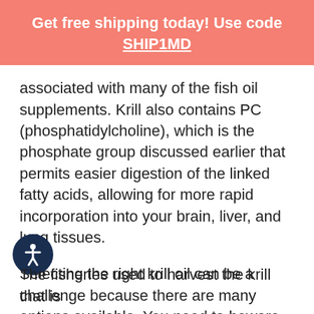Get free shipping today! Use code SHIP1MD
associated with many of the fish oil supplements. Krill also contains PC (phosphatidylcholine), which is the phosphate group discussed earlier that permits easier digestion of the linked fatty acids, allowing for more rapid incorporation into your brain, liver, and lung tissues.
Selecting the right krill oil can be a challenge because there are many options available. You need to beware of cheap imitations and low-quality imposters and should try to stick with quality well-known brands.
The fisheries used to harvest the krill that is